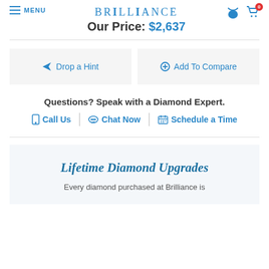MENU | BRILLIANCE | Our Price: $2,637
Drop a Hint
Add To Compare
Questions? Speak with a Diamond Expert.
Call Us | Chat Now | Schedule a Time
Lifetime Diamond Upgrades
Every diamond purchased at Brilliance is